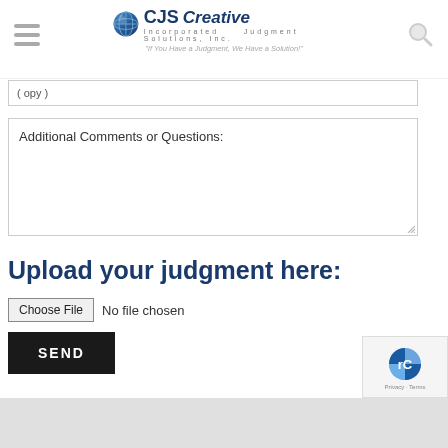CJS Creative Judgment Solutions, Inc. — If You Have a Judgment, We Have a Solution!
Additional Comments or Questions:
Upload your judgment here:
Choose File  No file chosen
SEND